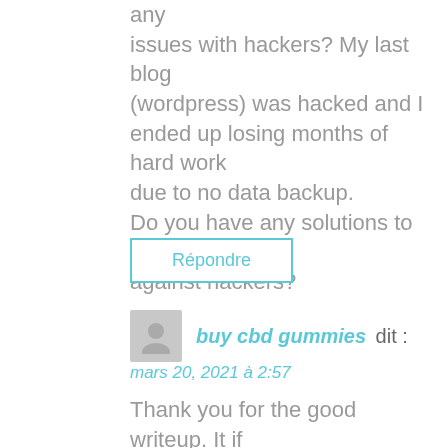any issues with hackers? My last blog (wordpress) was hacked and I ended up losing months of hard work due to no data backup. Do you have any solutions to protect against hackers?
Répondre
buy cbd gummies dit :
mars 20, 2021 à 2:57
Thank you for the good writeup. It if truth be told was a leisure account it. Glance advanced to more introduced agreeable from you!